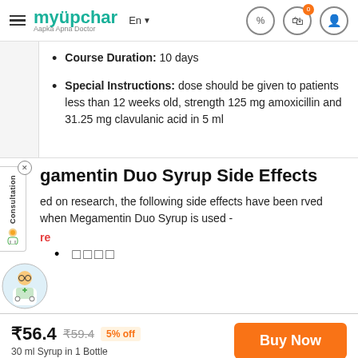myupchar - Aapka Apna Doctor
Course Duration: 10 days
Special Instructions: dose should be given to patients less than 12 weeks old, strength 125 mg amoxicillin and 31.25 mg clavulanic acid in 5 ml
gamentin Duo Syrup Side Effects
ed on research, the following side effects have been rved when Megamentin Duo Syrup is used -
re
□□□□
₹56.4 ₹59.4 5% off | 30 ml Syrup in 1 Bottle | Buy Now